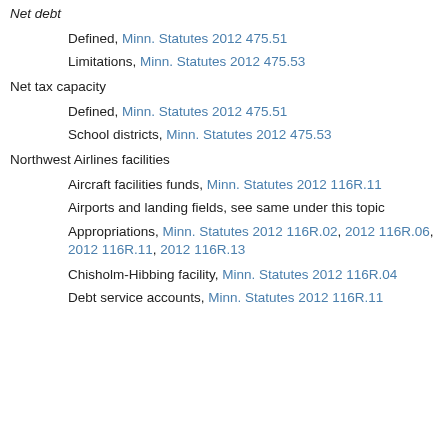Net debt
Defined, Minn. Statutes 2012 475.51
Limitations, Minn. Statutes 2012 475.53
Net tax capacity
Defined, Minn. Statutes 2012 475.51
School districts, Minn. Statutes 2012 475.53
Northwest Airlines facilities
Aircraft facilities funds, Minn. Statutes 2012 116R.11
Airports and landing fields, see same under this topic
Appropriations, Minn. Statutes 2012 116R.02, 2012 116R.06, 2012 116R.11, 2012 116R.13
Chisholm-Hibbing facility, Minn. Statutes 2012 116R.04
Debt service accounts, Minn. Statutes 2012 116R.11